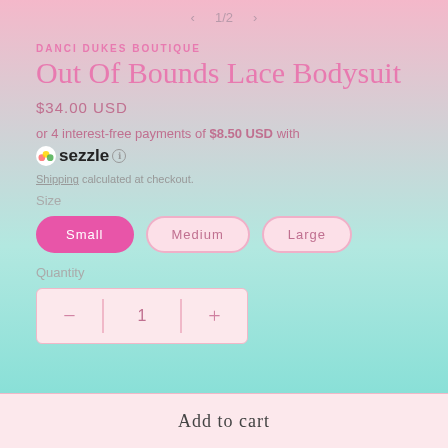1/2
DANCI DUKES BOUTIQUE
Out Of Bounds Lace Bodysuit
$34.00 USD
or 4 interest-free payments of $8.50 USD with sezzle ℹ
Shipping calculated at checkout.
Size
Small
Medium
Large
Quantity
1
Add to cart